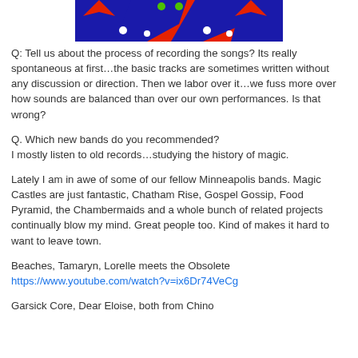[Figure (illustration): Colorful abstract artwork with red, blue, and green shapes on a red background — decorative banner image]
Q: Tell us about the process of recording the songs? Its really spontaneous at first…the basic tracks are sometimes written without any discussion or direction. Then we labor over it…we fuss more over how sounds are balanced than over our own performances. Is that wrong?
Q. Which new bands do you recommended?
I mostly listen to old records…studying the history of magic.
Lately I am in awe of some of our fellow Minneapolis bands. Magic Castles are just fantastic, Chatham Rise, Gospel Gossip, Food Pyramid, the Chambermaids and a whole bunch of related projects continually blow my mind. Great people too. Kind of makes it hard to want to leave town.
Beaches, Tamaryn, Lorelle meets the Obsolete
https://www.youtube.com/watch?v=ix6Dr74VeCg
Garsick Core, Dear Eloise, both from Chino